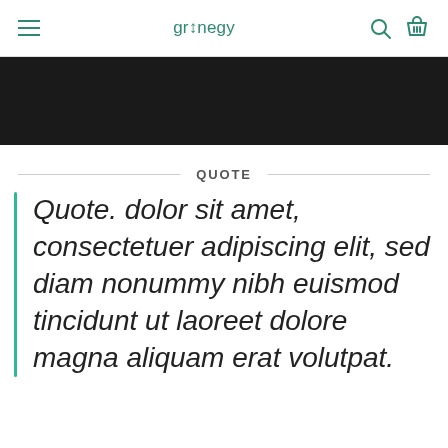gr+negy
[Figure (other): Dark/black hero banner image area]
QUOTE
Quote. dolor sit amet, consectetuer adipiscing elit, sed diam nonummy nibh euismod tincidunt ut laoreet dolore magna aliquam erat volutpat.